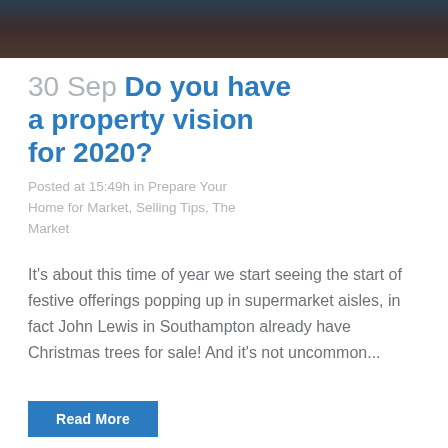[Figure (photo): Dark background photo bar at top of page, showing a dark brownish/navy textured surface, partially cropped at the top]
30 Sep Do you have a property vision for 2020?
Posted at 15:49h in Prepare Your Home for Market, Selling Tips, The Market
It's about this time of year we start seeing the start of festive offerings popping up in supermarket aisles, in fact John Lewis in Southampton already have Christmas trees for sale! And it's not uncommon...
Read More